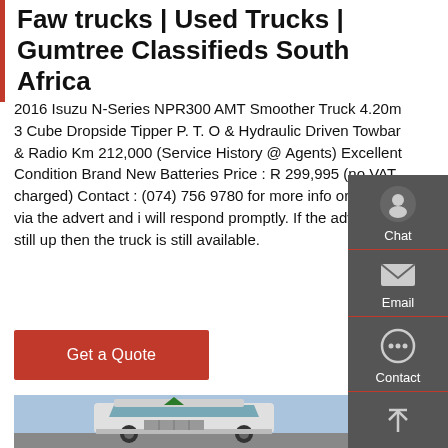Faw trucks | Used Trucks | Gumtree Classifieds South Africa
2016 Isuzu N-Series NPR300 AMT Smoother Truck 4.20m 3 Cube Dropside Tipper P. T. O & Hydraulic Driven Towbar & Radio Km 212,000 (Service History @ Agents) Excellent Condition Brand New Batteries Price : R 299,995 (no VAT charged) Contact : (074) 756 9780 for more info or repl y via the advert and i will respond promptly. If the advert is still up then the truck is still available.
[Figure (other): Red 'Get a Quote' button]
[Figure (photo): Photo of a white Faw truck cab viewed from front-left angle against a blue sky background]